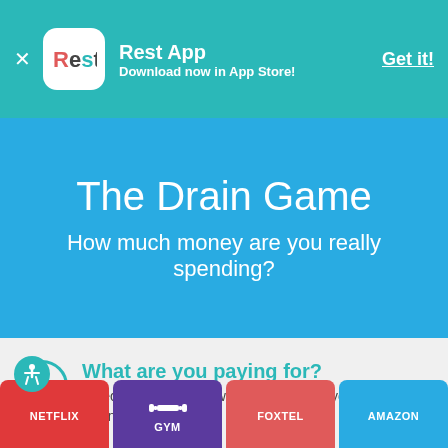Rest App — Download now in App Store! Get it!
The Drain Game
How much money are you really spending?
1 What are you paying for?
Select any of the following services that you're currently paying for.
[Figure (infographic): Service tiles at bottom: NETFLIX (red), GYM (purple with dumbbell icon), FOXTEL (salmon/red), AMAZON (blue)]